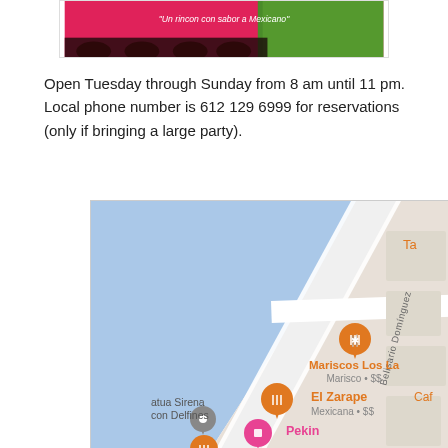[Figure (photo): Restaurant banner image showing colorful Mexican restaurant branding with text 'Un rincon con sabor a Mexicano']
Open Tuesday through Sunday from 8 am until 11 pm. Local phone number is 612 129 6999 for reservations (only if bringing a large party).
[Figure (map): Google Maps screenshot showing the location of El Zarape (Mexicana • $$) and nearby restaurants including Mariscos Los La (Marisco • $$), Pekin, La Iguana, along street Belisario Domínguez. Also shows landmarks: atua Sirena con Delfines. Map has blue water/ocean area in upper left.]